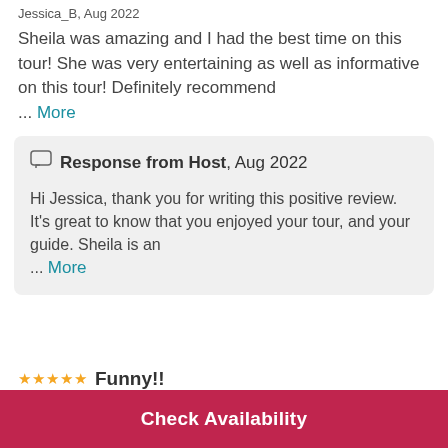Jessica_B, Aug 2022
Sheila was amazing and I had the best time on this tour! She was very entertaining as well as informative on this tour! Definitely recommend ... More
Response from Host, Aug 2022 — Hi Jessica, thank you for writing this positive review. It's great to know that you enjoyed your tour, and your guide. Sheila is an ... More
Funny!!
Check Availability